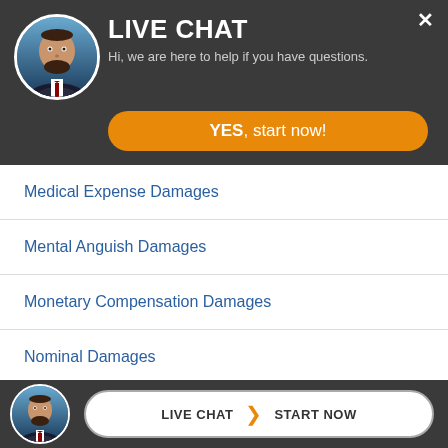[Figure (screenshot): Live chat popup header with avatar photo of bearded man in suit, LIVE CHAT title, subtitle text, and yellow YES start now button]
LIVE CHAT
Hi, we are here to help if you have questions.
YES, start now!
Medical Expense Damages
Mental Anguish Damages
Monetary Compensation Damages
Nominal Damages
Non-Economic Damages
Pain and Suffering Damages
Pecuniary and Non-Pecuniary Damages
LIVE CHAT  START NOW